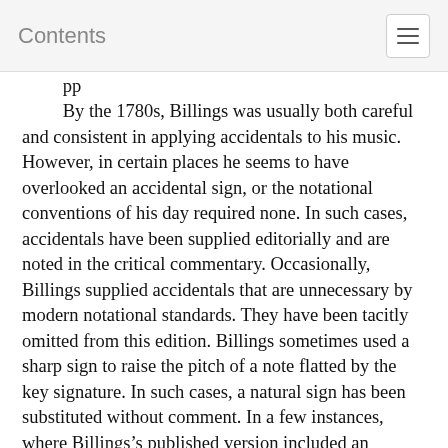Contents
By the 1780s, Billings was usually both careful and consistent in applying accidentals to his music. However, in certain places he seems to have overlooked an accidental sign, or the notational conventions of his day required none. In such cases, accidentals have been supplied editorially and are noted in the critical commentary. Occasionally, Billings supplied accidentals that are unnecessary by modern notational standards. They have been tacitly omitted from this edition. Billings sometimes used a sharp sign to raise the pitch of a note flatted by the key signature. In such cases, a natural sign has been substituted without comment. In a few instances, where Billings’s published version included an accidental not found in a printed or manuscript variant, the accidental has been included above the note in the manner of musica ficta in modern editions of Renaissance music. It may be performed or